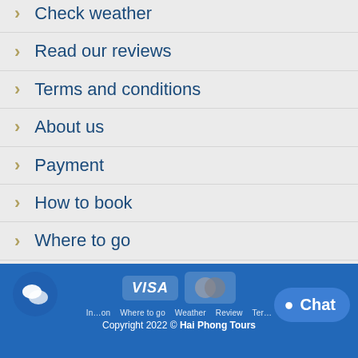Check weather
Read our reviews
Terms and conditions
About us
Payment
How to book
Where to go
Information  Where to go  Weather  Review  Terms  Copyright 2022 © Hai Phong Tours